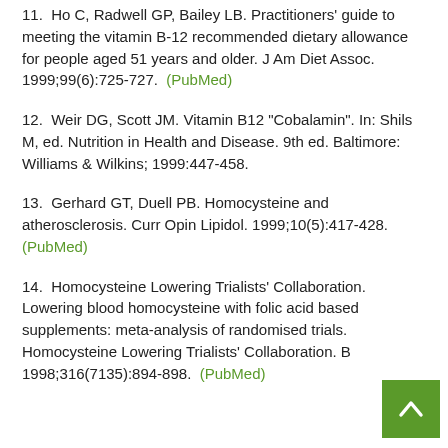11.  Ho C, Radwell GP, Bailey LB. Practitioners' guide to meeting the vitamin B-12 recommended dietary allowance for people aged 51 years and older. J Am Diet Assoc. 1999;99(6):725-727.  (PubMed)
12.  Weir DG, Scott JM. Vitamin B12 "Cobalamin". In: Shils M, ed. Nutrition in Health and Disease. 9th ed. Baltimore: Williams & Wilkins; 1999:447-458.
13.  Gerhard GT, Duell PB. Homocysteine and atherosclerosis. Curr Opin Lipidol. 1999;10(5):417-428.  (PubMed)
14.  Homocysteine Lowering Trialists' Collaboration. Lowering blood homocysteine with folic acid based supplements: meta-analysis of randomised trials. Homocysteine Lowering Trialists' Collaboration. BMJ. 1998;316(7135):894-898.  (PubMed)